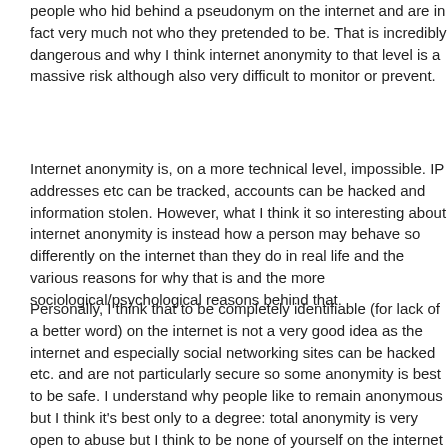people who hid behind a pseudonym on the internet and are in fact very much not who they pretended to be. That is incredibly dangerous and why I think internet anonymity to that level is a massive risk although also very difficult to monitor or prevent.
Internet anonymity is, on a more technical level, impossible. IP addresses etc can be tracked, accounts can be hacked and information stolen. However, what I think it so interesting about internet anonymity is instead how a person may behave so differently on the internet than they do in real life and the various reasons for why that is and the more sociological/psychological reasons behind that.
Personally, I think that to be completely identifiable (for lack of a better word) on the internet is not a very good idea as the internet and especially social networking sites can be hacked etc. and are not particularly secure so some anonymity is best to be safe. I understand why people like to remain anonymous but I think it's best only to a degree: total anonymity is very open to abuse but I think to be none of yourself on the internet is also the waste of an opportunity to express yourself more or less freely on a platform where you can interact with so many other people that you wouldn't ever have been able to otherwise.